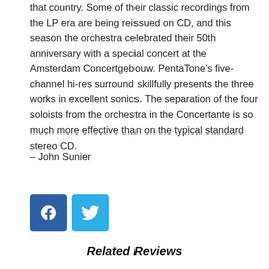that country. Some of their classic recordings from the LP era are being reissued on CD, and this season the orchestra celebrated their 50th anniversary with a special concert at the Amsterdam Concertgebouw. PentaTone’s five-channel hi-res surround skillfully presents the three works in excellent sonics. The separation of the four soloists from the orchestra in the Concertante is so much more effective than on the typical standard stereo CD.
– John Sunier
[Figure (other): Facebook and Twitter social share buttons]
Related Reviews